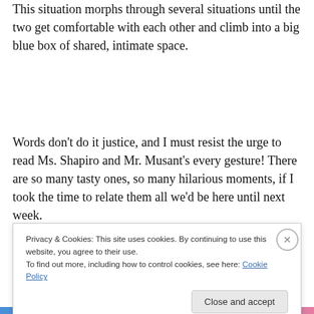This situation morphs through several situations until the two get comfortable with each other and climb into a big blue box of shared, intimate space.
Words don't do it justice, and I must resist the urge to read Ms. Shapiro and Mr. Musant's every gesture! There are so many tasty ones, so many hilarious moments, if I took the time to relate them all we'd be here until next week.
Suffice it to say that Ms. Shapiro and Mr. Musant are...
Privacy & Cookies: This site uses cookies. By continuing to use this website, you agree to their use.
To find out more, including how to control cookies, see here: Cookie Policy
Close and accept